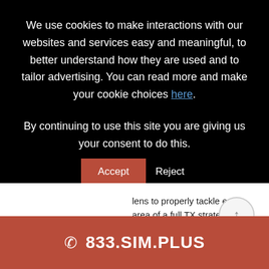We use cookies to make interactions with our websites and services easy and meaningful, to better understand how they are used and to tailor advertising. You can read more and make your cookie choices here.
By continuing to use this site you are giving us your consent to do this.
lens to properly tackle each area of a full TX strategy. Let's dive in: ...
READ MORE
833.SIM.PLUS